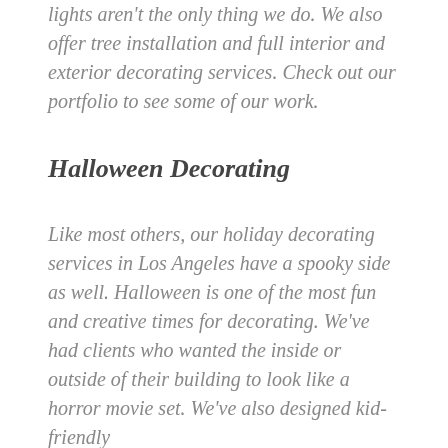lights aren't the only thing we do. We also offer tree installation and full interior and exterior decorating services. Check out our portfolio to see some of our work.
Halloween Decorating
Like most others, our holiday decorating services in Los Angeles have a spooky side as well. Halloween is one of the most fun and creative times for decorating. We've had clients who wanted the inside or outside of their building to look like a horror movie set. We've also designed kid-friendly